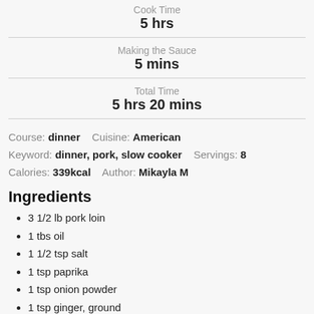Cook Time
5 hrs
Making the Sauce
5 mins
Total Time
5 hrs 20 mins
Course: dinner   Cuisine: American
Keyword: dinner, pork, slow cooker   Servings: 8
Calories: 339kcal   Author: Mikayla M
Ingredients
3 1/2 lb pork loin
1 tbs oil
1 1/2 tsp salt
1 tsp paprika
1 tsp onion powder
1 tsp ginger, ground
20 ounces pineapple chunks in 100% juice*
1/2 cup soy sauce
2/3 cup sweet onion, diced about 1/3 an onion